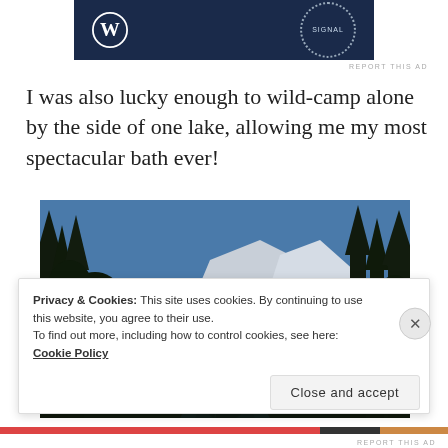[Figure (logo): WordPress logo and Signal badge on dark blue ad banner background]
REPORT THIS AD
I was also lucky enough to wild-camp alone by the side of one lake, allowing me my most spectacular bath ever!
[Figure (photo): Outdoor camping photo: tent in foreground with silhouetted trees and snow-capped mountains under blue sky]
Privacy & Cookies: This site uses cookies. By continuing to use this website, you agree to their use.
To find out more, including how to control cookies, see here: Cookie Policy
Close and accept